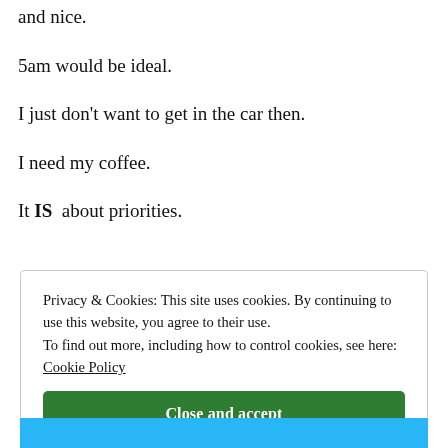and nice.
5am would be ideal.
I just don't want to get in the car then.
I need my coffee.
It IS  about priorities.
Privacy & Cookies: This site uses cookies. By continuing to use this website, you agree to their use.
To find out more, including how to control cookies, see here: Cookie Policy
Close and accept